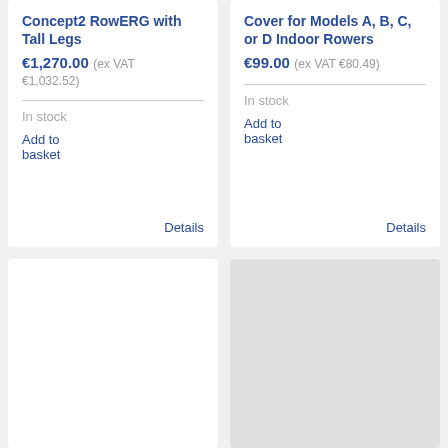Concept2 RowERG with Tall Legs
€1,270.00 (ex VAT €1,032.52)
In stock
Add to basket
Details
Cover for Models A, B, C, or D Indoor Rowers
€99.00 (ex VAT €80.49)
In stock
Add to basket
Details
[Figure (other): Empty white product card placeholder]
[Figure (other): Gray product image placeholder]